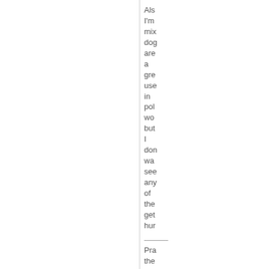Als I'm mix dog are a gre use in pol wo but I don wa see any of the get hur
Pra the